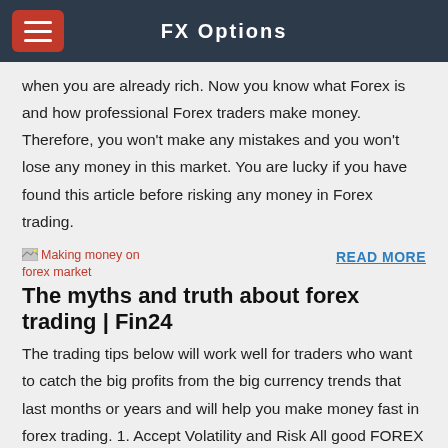FX Options
when you are already rich. Now you know what Forex is and how professional Forex traders make money. Therefore, you won't make any mistakes and you won't lose any money in this market. You are lucky if you have found this article before risking any money in Forex trading.
[Figure (illustration): Broken image placeholder labeled 'Making money on forex market']
READ MORE
The myths and truth about forex trading | Fin24
The trading tips below will work well for traders who want to catch the big profits from the big currency trends that last months or years and will help you make money fast in forex trading. 1. Accept Volatility and Risk All good FOREX traders understand that volatility and risk mean big money making potential.